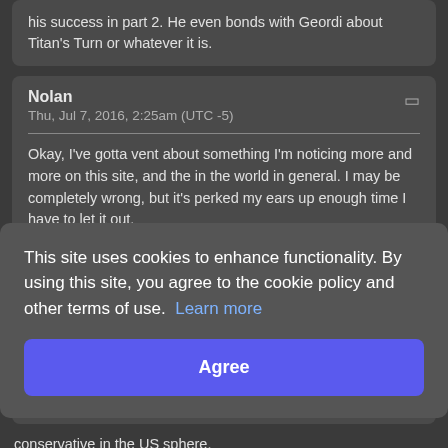his success in part 2. He even bonds with Geordi about Titan's Turn or whatever it is.
Nolan
Thu, Jul 7, 2016, 2:25am (UTC -5)
Okay, I've gotta vent about something I'm noticing more and more on this site, and the in the world in general. I may be completely wrong, but it's perked my ears up enough time I have to let it out.
I LOATHE this whole left/right, liberal/conservative labeling
This site uses cookies to enhance functionality. By using this site, you agree to the cookie policy and other terms of use.  Learn more
Agree
conservative in the US sphere.